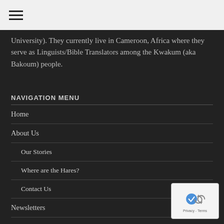☰ (hamburger menu icon)
University). They currently live in Cameroon, Africa where they serve as Linguists/Bible Translators among the Kwakum (aka Bakoum) people.
NAVIGATION MENU
Home
About Us
Our Stories
Where are the Hares?
Contact Us
Newsletters
[Figure (logo): reCAPTCHA badge with Privacy and Terms links]